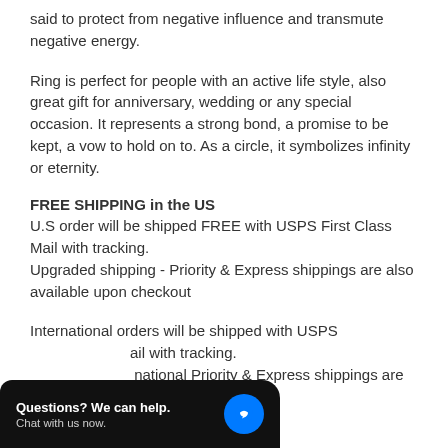said to protect from negative influence and transmute negative energy.
Ring is perfect for people with an active life style, also great gift for anniversary, wedding or any special occasion. It represents a strong bond, a promise to be kept, a vow to hold on to. As a circle, it symbolizes infinity or eternity.
FREE SHIPPING in the US
U.S order will be shipped FREE with USPS First Class Mail with tracking.
Upgraded shipping - Priority & Express shippings are also available upon checkout
International orders will be shipped with USPS
...ail with tracking.
...national Priority & Express shippings are also available upon checkout